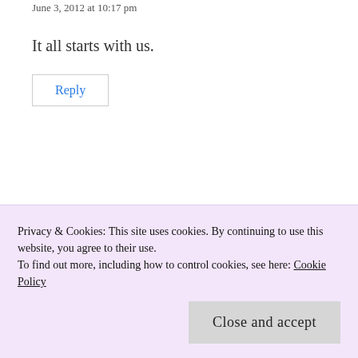June 3, 2012 at 10:17 pm
It all starts with us.
Reply
JG
June 18, 2012 at 9:12 am
Privacy & Cookies: This site uses cookies. By continuing to use this website, you agree to their use.
To find out more, including how to control cookies, see here: Cookie Policy
Close and accept
_personalized_search_who_owns_the_profiles.php